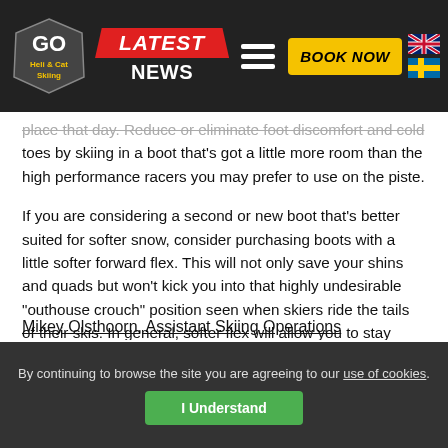GO Heli & Cat Skiing — Latest News — Book Now
place that day. Reduce or eliminate foot discomfort and cold toes by skiing in a boot that's got a little more room than the high performance racers you may prefer to use on the piste.
If you are considering a second or new boot that's better suited for softer snow, consider purchasing boots with a little softer forward flex. This will not only save your shins and quads but won't kick you into that highly undesirable "outhouse crouch" position seen when skiers ride the tails of their skis. In general, softer flex will allow you to stay centered over the ski, save the legs and avoid the old ass plant crash scene scenario. "
Mikey Olsthoorn, Assistant Skiing Operations
By continuing to browse the site you are agreeing to our use of cookies. I Understand